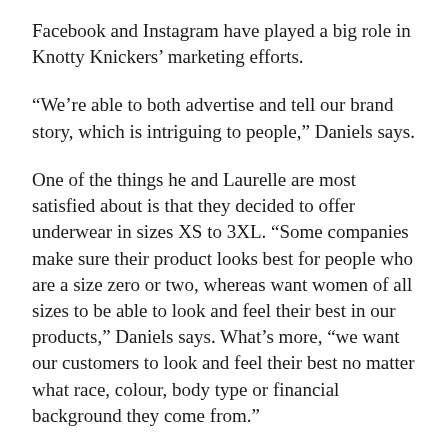Facebook and Instagram have played a big role in Knotty Knickers’ marketing efforts.
“We’re able to both advertise and tell our brand story, which is intriguing to people,” Daniels says.
One of the things he and Laurelle are most satisfied about is that they decided to offer underwear in sizes XS to 3XL. “Some companies make sure their product looks best for people who are a size zero or two, whereas want women of all sizes to be able to look and feel their best in our products,” Daniels says. What’s more, “we want our customers to look and feel their best no matter what race, colour, body type or financial background they come from.”
What does Daniels wish he had known when he started three years ago? “That I had done more